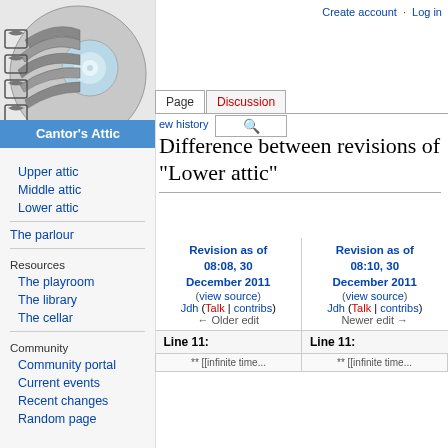Create account  Log in
[Figure (logo): Cantor's Attic logo - spiral staircase image with text Cantor's Attic]
Upper attic
Middle attic
Lower attic
The parlour
Resources
The playroom
The library
The cellar
Community
Community portal
Current events
Recent changes
Random page
Difference between revisions of "Lower attic"
| Revision as of 08:08, 30 December 2011 | Revision as of 08:10, 30 December 2011 |
| --- | --- |
| (view source) | (view source) |
| Jdh (Talk | contribs) | Jdh (Talk | contribs) |
| ← Older edit | Newer edit → |
| Line 11: | Line 11: |
| --- | --- |
| ** [[infinite time... | ** [[infinite time... |